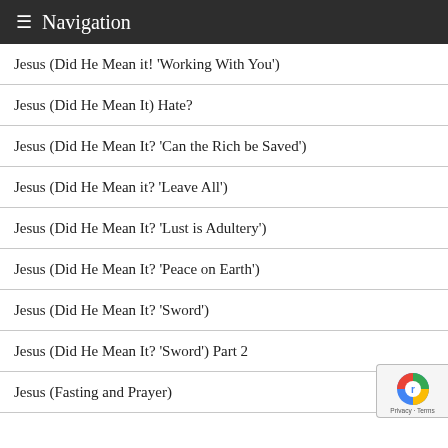Navigation
Jesus (Did He Mean it! 'Working With You')
Jesus (Did He Mean It) Hate?
Jesus (Did He Mean It? 'Can the Rich be Saved')
Jesus (Did He Mean it? 'Leave All')
Jesus (Did He Mean It? 'Lust is Adultery')
Jesus (Did He Mean It? 'Peace on Earth')
Jesus (Did He Mean It? 'Sword')
Jesus (Did He Mean It? 'Sword') Part 2
Jesus (Fasting and Prayer)